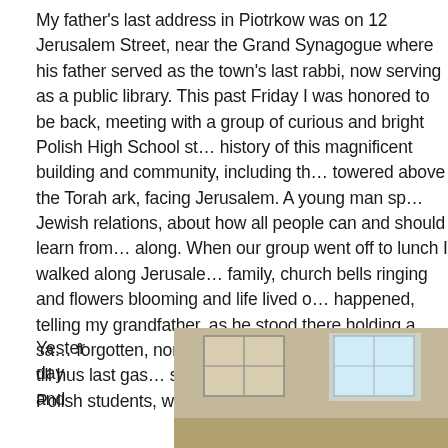My father's last address in Piotrkow was on 12 Jerusalem Street, near the Grand Synagogue where his father served as the town's last rabbi, now serving as a public library. This past Friday I was honored to be back, meeting with a group of curious and bright Polish High School students on the history of this magnificent building and community, including the bimah that towered above the Torah ark, facing Jerusalem. A young man spoke about Polish-Jewish relations, about how all people can and should learn from and get along. When our group went off to lunch I walked along Jerusalem Street with my family, church bells ringing and flowers blooming and life lived on—imagining what happened, telling my grandfather, as he stood there holding a sacred Torah, not forgotten, nor the Torah he held on to and taught till hus last gasp. What we owe the scrolls that once lived here, I told the Polish students, was to Love one another. We continue to try.
Yesterday and
[Figure (photo): Interior photo of a building with large windows and bright light, appears to be inside the Grand Synagogue/library]
[Figure (photo): Exterior photo of a historic stone building facade with windows, likely the Grand Synagogue exterior]